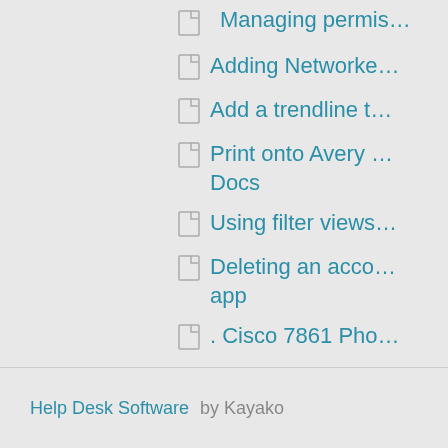Managing permissions
Adding Networked
Add a trendline t
Print onto Avery Docs
Using filter views
Deleting an account app
. Cisco 7861 Phone
Printing an email
Help Desk Software by Kayako